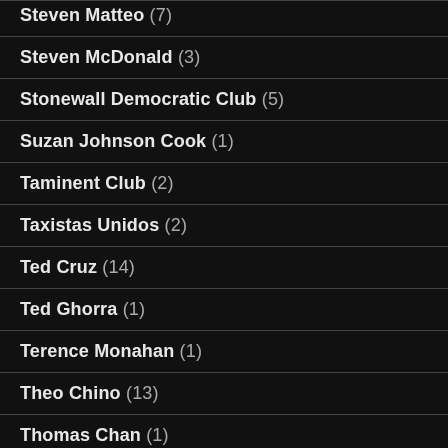Steven Matteo (7)
Steven McDonald (3)
Stonewall Democratic Club (5)
Suzan Johnson Cook (1)
Taminent Club (2)
Taxistas Unidos (2)
Ted Cruz (14)
Ted Ghorra (1)
Terence Monahan (1)
Theo Chino (13)
Thomas Chan (1)
Three Kings Day (3)
Tiffany Caban (3)